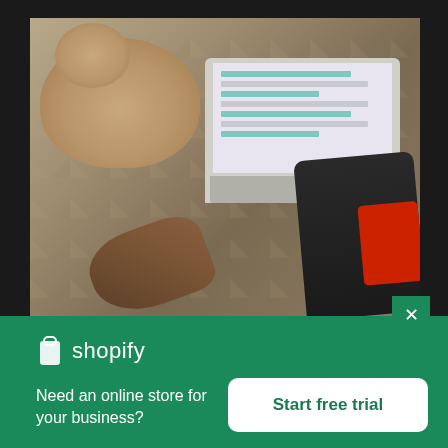[Figure (photo): Overhead view of a person on a bed working on a laptop next to a sleeping dog. Person is wearing brown top and dark pants with red shoes. A smartphone is visible on the bed.]
[Figure (logo): Shopify logo: shopping bag icon in white next to the word 'shopify' in white text, on a green background]
Need an online store for your business?
Start free trial